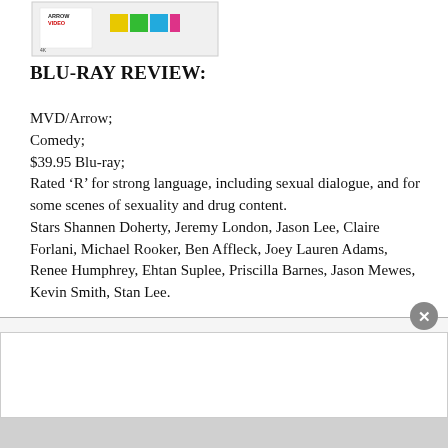[Figure (photo): Arrow Video Blu-ray box art thumbnail showing Arrow Video logo and colorful stripe design]
BLU-RAY REVIEW:
MVD/Arrow;
Comedy;
$39.95 Blu-ray;
Rated ‘R’ for strong language, including sexual dialogue, and for some scenes of sexuality and drug content.
Stars Shannen Doherty, Jeremy London, Jason Lee, Claire Forlani, Michael Rooker, Ben Affleck, Joey Lauren Adams, Renee Humphrey, Ehtan Suplee, Priscilla Barnes, Jason Mewes, Kevin Smith, Stan Lee.
[Figure (other): Advertisement area with close button (x) in the bottom portion of the page]